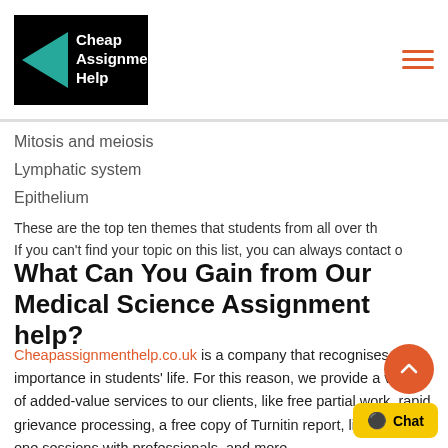[Figure (logo): Cheap Assignment Help logo — black rectangle with teal left-pointing triangle and white text]
Mitosis and meiosis
Lymphatic system
Epithelium
These are the top ten themes that students from all over th... If you can't find your topic on this list, you can always contact o...
What Can You Gain from Our Medical Science Assignment help?
Cheapassignmenthelp.co.uk is a company that recognises its importance in students' life. For this reason, we provide a variety of added-value services to our clients, like free partial work, rapid grievance processing, a free copy of Turnitin report, live one-on-one sessions with professionals, and more.